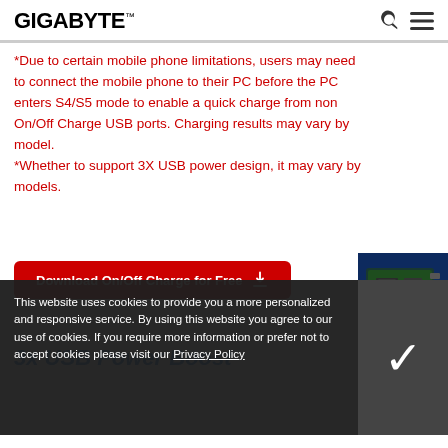GIGABYTE
*Due to certain mobile phone limitations, users may need to connect the mobile phone to their PC before the PC enters S4/S5 mode to enable a quick charge from non On/Off Charge USB ports. Charging results may vary by model.
*Whether to support 3X USB power design, it may vary by models.
[Figure (screenshot): Red download button labeled 'Download On/Off Charge for Free' with download icon]
[Figure (photo): 3D Industry panel showing motherboard/hardware image with '3D INDUSTRY >' label]
3x USB Power Boost
This website uses cookies to provide you a more personalized and responsive service. By using this website you agree to our use of cookies. If you require more information or prefer not to accept cookies please visit our Privacy Policy
extra power for USB devices. GIGABYTE's